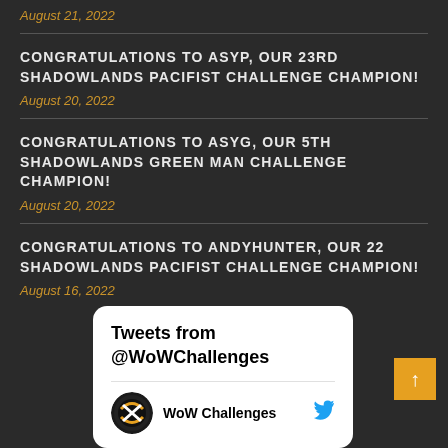August 21, 2022
CONGRATULATIONS TO ASYP, OUR 23RD SHADOWLANDS PACIFIST CHALLENGE CHAMPION!
August 20, 2022
CONGRATULATIONS TO ASYG, OUR 5TH SHADOWLANDS GREEN MAN CHALLENGE CHAMPION!
August 20, 2022
CONGRATULATIONS TO ANDYHUNTER, OUR 22 SHADOWLANDS PACIFIST CHALLENGE CHAMPION!
August 16, 2022
Tweets from @WoWChallenges
WoW Challenges